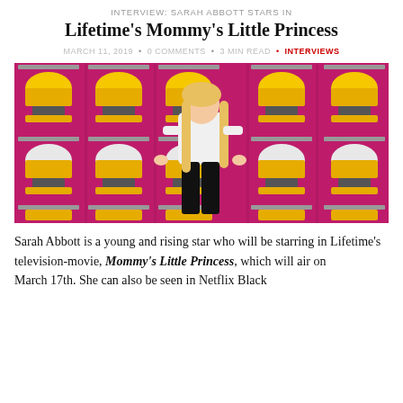INTERVIEW: Sarah Abbott Stars in Lifetime's Mommy's Little Princess
MARCH 11, 2019 • 0 COMMENTS • 3 MIN READ • INTERVIEWS
[Figure (photo): A young blonde girl standing in front of a wall of yellow gumball machines on a pink/magenta background, smiling and wearing a white sweatshirt and black pants.]
Sarah Abbott is a young and rising star who will be starring in Lifetime's television-movie, Mommy's Little Princess, which will air on March 17th. She can also be seen in Netflix Black...